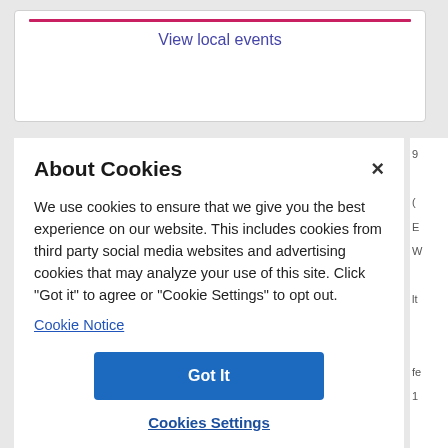View local events
About Cookies
We use cookies to ensure that we give you the best experience on our website. This includes cookies from third party social media websites and advertising cookies that may analyze your use of this site. Click "Got it" to agree or "Cookie Settings" to opt out.
Cookie Notice
Got It
Cookies Settings